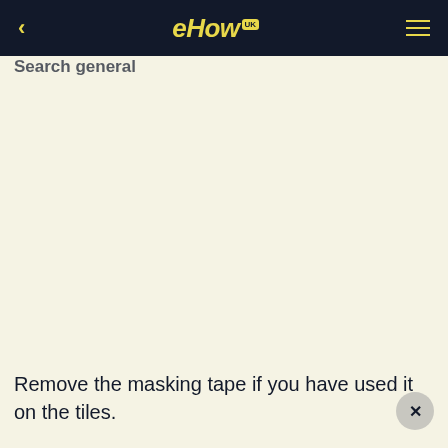eHow UK
Search general
Remove the masking tape if you have used it on the tiles.